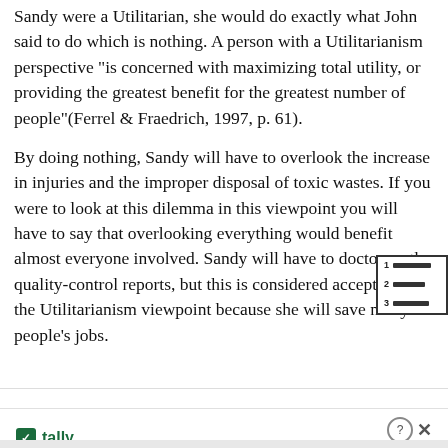Sandy were a Utilitarian, she would do exactly what John said to do which is nothing. A person with a Utilitarianism perspective "is concerned with maximizing total utility, or providing the greatest benefit for the greatest number of people"(Ferrel & Fraedrich, 1997, p. 61).
By doing nothing, Sandy will have to overlook the increase in injuries and the improper disposal of toxic wastes. If you were to look at this dilemma in this viewpoint you will have to say that overlooking everything would benefit almost everyone involved. Sandy will have to doctor up the quality-control reports, but this is considered acceptable in the Utilitarianism viewpoint because she will save many people's jobs.
[Figure (other): Table of contents icon showing numbered list lines]
…dy does modify the quality-control reports…
[Figure (other): Advertisement banner: Tally app - Fast credit card payoff - Download Now button]